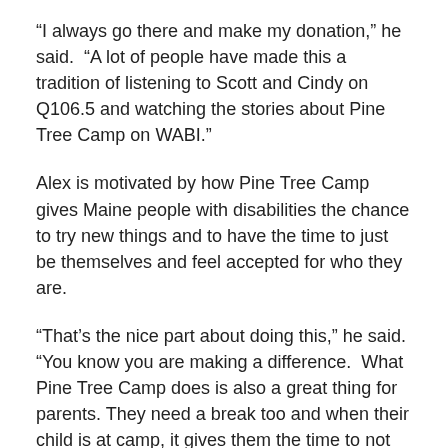“I always go there and make my donation,” he said.  “A lot of people have made this a tradition of listening to Scott and Cindy on Q106.5 and watching the stories about Pine Tree Camp on WABI.”
Alex is motivated by how Pine Tree Camp gives Maine people with disabilities the chance to try new things and to have the time to just be themselves and feel accepted for who they are.
“That’s the nice part about doing this,” he said. “You know you are making a difference.  What Pine Tree Camp does is also a great thing for parents. They need a break too and when their child is at camp, it gives them the time to not have to worry about